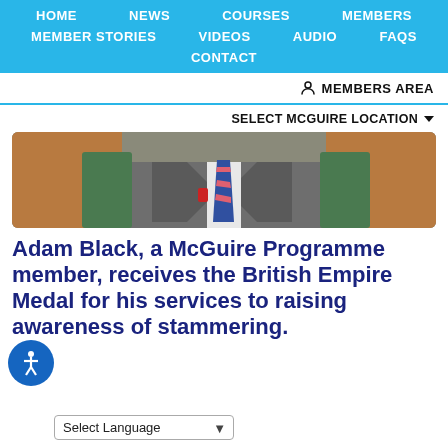HOME  NEWS  COURSES  MEMBERS  MEMBER STORIES  VIDEOS  AUDIO  FAQS  CONTACT
MEMBERS AREA
SELECT MCGUIRE LOCATION
[Figure (photo): A man in a grey suit with a blue and pink striped tie and a red badge/pin on his lapel, photographed from the chest up in what appears to be an official or parliamentary setting.]
Adam Black, a McGuire Programme member, receives the British Empire Medal for his services to raising awareness of stammering.